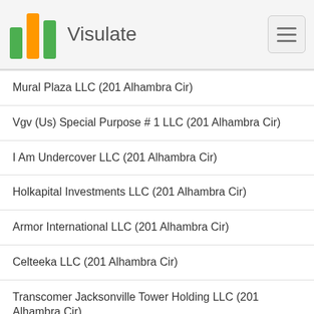Visulate
Mural Plaza LLC (201 Alhambra Cir)
Vgv (Us) Special Purpose # 1 LLC (201 Alhambra Cir)
I Am Undercover LLC (201 Alhambra Cir)
Holkapital Investments LLC (201 Alhambra Cir)
Armor International LLC (201 Alhambra Cir)
Celteeka LLC (201 Alhambra Cir)
Transcomer Jacksonville Tower Holding LLC (201 Alhambra Cir)
1803 Atlantic LLC (201 Alhambra Cir)
Northpoint Investment Properties LLC (201 Alhambra Cir)
Northpoint Investment Properties LLC (201 Alhambra Cir)